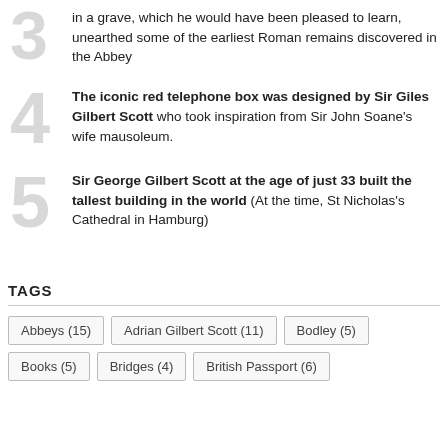3 — in a grave, which he would have been pleased to learn, unearthed some of the earliest Roman remains discovered in the Abbey
4 — The iconic red telephone box was designed by Sir Giles Gilbert Scott who took inspiration from Sir John Soane's wife mausoleum.
5 — Sir George Gilbert Scott at the age of just 33 built the tallest building in the world (At the time, St Nicholas's Cathedral in Hamburg)
TAGS
Abbeys (15), Adrian Gilbert Scott (11), Bodley (5), Books (5), Bridges (4), British Passport (6)